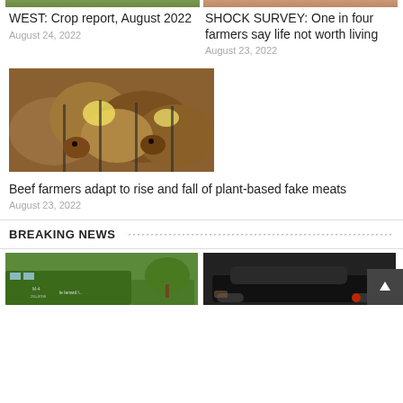[Figure (photo): Partial crop/farm image top left]
[Figure (photo): Partial person photo top right]
WEST: Crop report, August 2022
August 24, 2022
SHOCK SURVEY: One in four farmers say life not worth living
August 23, 2022
[Figure (photo): Beef cattle crowded together in pen]
Beef farmers adapt to rise and fall of plant-based fake meats
August 23, 2022
BREAKING NEWS
[Figure (photo): Green farm truck partial view bottom left]
[Figure (photo): Dark car partial view bottom right]